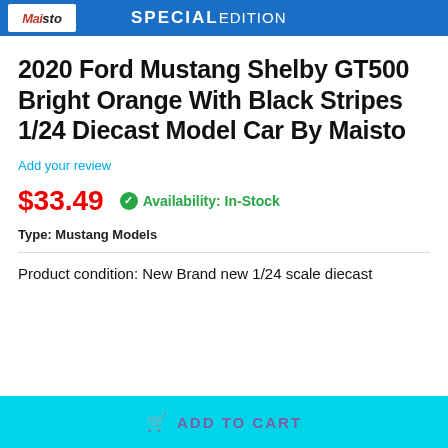[Figure (logo): Maisto Special Edition banner logo in blue with white Maisto logo on left and SPECIAL EDITION text on right]
2020 Ford Mustang Shelby GT500 Bright Orange With Black Stripes 1/24 Diecast Model Car By Maisto
Add your review
$33.49
Availability: In-Stock
Type: Mustang Models
Product condition: New Brand new 1/24 scale diecast
ADD TO CART